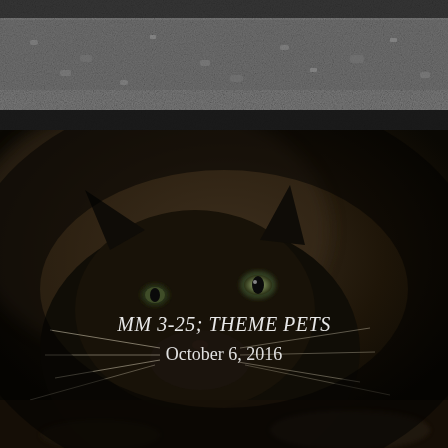[Figure (photo): Black and white photograph of gravel or rocky ground texture, viewed from above, top portion of the page]
[Figure (photo): Sepia-toned close-up photograph of a dark cat's face (Burmese or similar breed) looking upward, with visible whiskers, occupying the lower portion of the page]
MM 3-25; THEME PETS
October 6, 2016